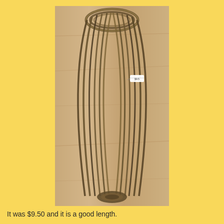[Figure (photo): Photo of a multi-strand metallic chain necklace laid out on a wooden surface, forming a V-shape loop. The chains appear to be dark silver/gunmetal and gold tones. A small white price tag is visible on the right side of the necklace.]
It was $9.50 and it is a good length.